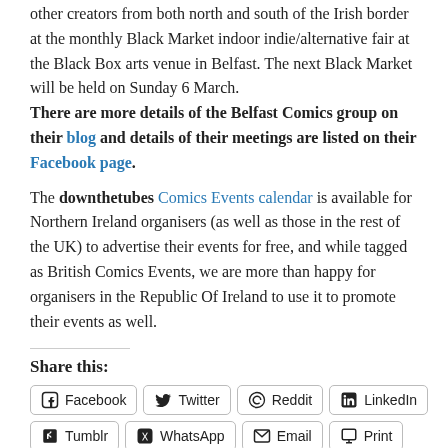other creators from both north and south of the Irish border at the monthly Black Market indoor indie/alternative fair at the Black Box arts venue in Belfast. The next Black Market will be held on Sunday 6 March.
There are more details of the Belfast Comics group on their blog and details of their meetings are listed on their Facebook page.
The downthetubes Comics Events calendar is available for Northern Ireland organisers (as well as those in the rest of the UK) to advertise their events for free, and while tagged as British Comics Events, we are more than happy for organisers in the Republic Of Ireland to use it to promote their events as well.
Share this:
Facebook  Twitter  Reddit  LinkedIn  Tumblr  WhatsApp  Email  Print
Like this:
Like